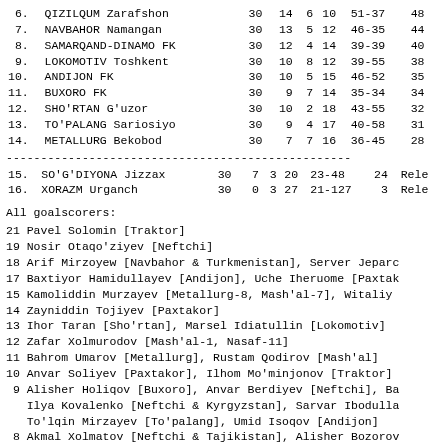| # | Team | GP | W | D | L | GD | Pts | Note |
| --- | --- | --- | --- | --- | --- | --- | --- | --- |
| 6 | QIZILQUM Zarafshon | 30 | 14 | 6 | 10 | 51-37 | 48 |  |
| 7 | NAVBAHOR Namangan | 30 | 13 | 5 | 12 | 46-35 | 44 |  |
| 8 | SAMARQAND-DINAMO FK | 30 | 12 | 4 | 14 | 39-39 | 40 |  |
| 9 | LOKOMOTIV Toshkent | 30 | 10 | 8 | 12 | 39-55 | 38 |  |
| 10 | ANDIJON FK | 30 | 10 | 5 | 15 | 46-52 | 35 |  |
| 11 | BUXORO FK | 30 | 9 | 7 | 14 | 35-34 | 34 |  |
| 12 | SHO'RTAN G'uzor | 30 | 10 | 2 | 18 | 43-55 | 32 |  |
| 13 | TO'PALANG Sariosiyo | 30 | 9 | 4 | 17 | 40-58 | 31 |  |
| 14 | METALLURG Bekobod | 30 | 7 | 7 | 16 | 36-45 | 28 |  |
| 15 | SO'G'DIYONA Jizzax | 30 | 7 | 3 | 20 | 23-48 | 24 | Rele |
| 16 | XORAZM Urganch | 30 | 0 | 3 | 27 | 21-127 | 3 | Rele |
All goalscorers:
21 Pavel Solomin [Traktor]
19 Nosir Otaqo'ziyev [Neftchi]
18 Arif Mirzoyew [Navbahor & Turkmenistan], Server Jeparo...
17 Baxtiyor Hamidullayev [Andijon], Uche Iheruome [Paxtak...
15 Kamoliddin Murzayev [Metallurg-8, Mash'al-7], Witaliy...
14 Zayniddin Tojiyev [Paxtakor]
13 Ihor Taran [Sho'rtan], Marsel Idiatullin [Lokomotiv]
12 Zafar Xolmurodov [Mash'al-1, Nasaf-11]
11 Bahrom Umarov [Metallurg], Rustam Qodirov [Mash'al]
10 Anvar Soliyev [Paxtakor], Ilhom Mo'minjonov [Traktor]
9 Alisher Holiqov [Buxoro], Anvar Berdiyev [Neftchi], Ba... Ilya Kovalenko [Neftchi & Kyrgyzstan], Sarvar Ibodulla... To'lqin Mirzayev [To'palang], Umid Isoqov [Andijon]
8 Akmal Xolmatov [Neftchi & Tajikistan], Alisher Bozorov...